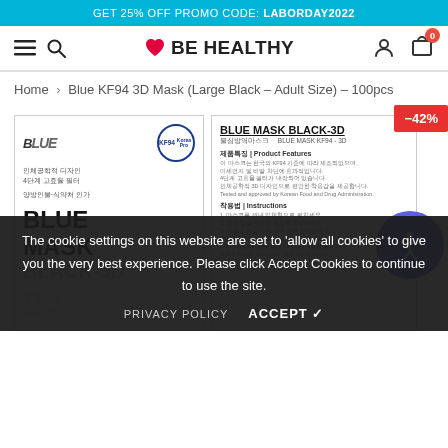GET 25% OFF PROMO CODE: LABORDAY2022
[Figure (screenshot): Be Healthy store navigation bar with hamburger menu, search icon, Be Healthy logo with heart, user icon, and cart icon with badge showing 0]
Home > Blue KF94 3D Mask (Large Black - Adult Size) - 100pcs
[Figure (photo): Product images of Blue KF94 3D Mask packaging, front and back panels shown side by side. Front shows Blue brand logo, KF94 Korea Pro seal, Korean text, and BLUE MASK text. Back shows BLUE MASK BLACK-3D title, product features and instructions in Korean and English. Discount badge showing -42% in top right corner. Accessibility button overlay. Cookie consent overlay at bottom with text about cookie settings and Accept/Privacy Policy options.]